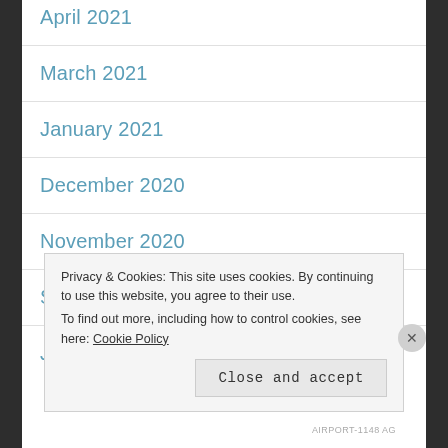April 2021
March 2021
January 2021
December 2020
November 2020
September 2020
June 2020
Privacy & Cookies: This site uses cookies. By continuing to use this website, you agree to their use. To find out more, including how to control cookies, see here: Cookie Policy
AIRPORT-1148 AG